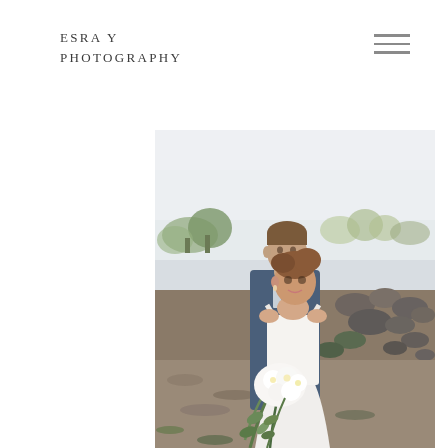ESRA Y
PHOTOGRAPHY
[Figure (photo): A bride and groom standing on a rocky beach. The bride wears a white gown and holds a large white and green floral bouquet. The groom wears a blue suit. Trees and rocks visible in the background under a light sky.]